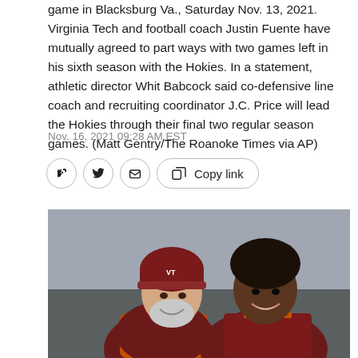game in Blacksburg Va., Saturday Nov. 13, 2021. Virginia Tech and football coach Justin Fuente have mutually agreed to part ways with two games left in his sixth season with the Hokies. In a statement, athletic director Whit Babcock said co-defensive line coach and recruiting coordinator J.C. Price will lead the Hokies through their final two regular season games. (Matt Gentry/The Roanoke Times via AP)
Nov. 16, 2021 09:28 AM EST
[Figure (photo): Two people in Virginia Tech maroon football gear smiling together on a sideline. The man on the left is older with a gray beard wearing a maroon VT beanie hat and orange hoodie. The younger man on the right wears a maroon Virginia Tech football jersey.]